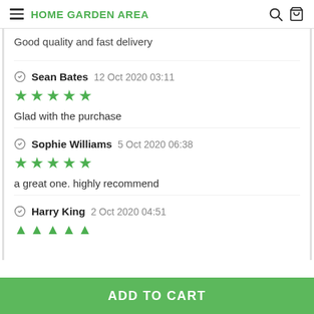HOME GARDEN AREA
Good quality and fast delivery
Sean Bates  12 Oct 2020 03:11
★★★★★
Glad with the purchase
Sophie Williams  5 Oct 2020 06:38
★★★★★
a great one. highly recommend
Harry King  2 Oct 2020 04:51
★★★★★
ADD TO CART